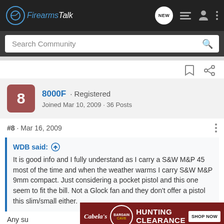FirearmsTalk
Search Community
8000F · Registered
Joined Mar 10, 2009 · 36 Posts
#8 · Mar 16, 2009
WDB said: ↑
It is good info and I fully understand as I carry a S&W M&P 45 most of the time and when the weather warms I carry S&W M&P 9mm compact. Just considering a pocket pistol and this one seem to fit the bill. Not a Glock fan and they don't offer a pistol this slim/small either.
Any su
[Figure (screenshot): Cabela's Bargain Cave Hunting Clearance advertisement banner]